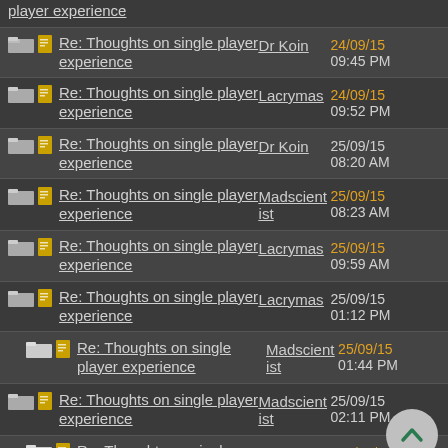player experience
Re: Thoughts on single player experience — Dr Koin — 24/09/15 09:45 PM
Re: Thoughts on single player experience — Lacrymas — 24/09/15 09:52 PM
Re: Thoughts on single player experience — Dr Koin — 25/09/15 08:20 AM
Re: Thoughts on single player experience — Madscientist — 25/09/15 08:23 AM
Re: Thoughts on single player experience — Lacrymas — 25/09/15 09:59 AM
Re: Thoughts on single player experience — Lacrymas — 25/09/15 01:12 PM
Re: Thoughts on single player experience — Madscientist — 25/09/15 01:44 PM
Re: Thoughts on single player experience — Madscientist — 25/09/15 02:11 PM
Re: Thoughts on single player experience — ka1man — 25/09/15 03:02 PM